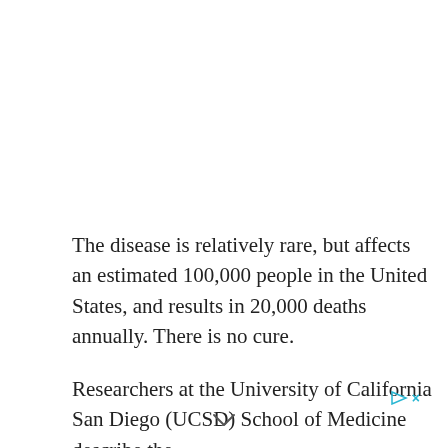The disease is relatively rare, but affects an estimated 100,000 people in the United States, and results in 20,000 deaths annually. There is no cure.
Researchers at the University of California San Diego (UCSD) School of Medicine describe the